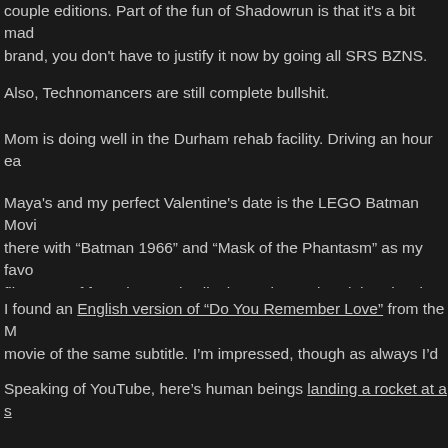couple editions. Part of the fun of Shadowrun is that it's a bit mad brand, you don't have to justify it now by going all SRS BZNS. Any I gamemaster will always have that Discordian wobble.
Also, Technomancers are still complete bullshit.
Mom is doing well in the Durham rehab facility. Driving an hour ea see her is pretty rough, though.
Maya's and my perfect Valentine's date is the LEGO Batman Movi there with "Batman 1966" and "Mask of the Phantasm" as my favo film. Lots of fun, plus Real Talk about The Dark Knight. Also, it was "Fifty Shades" movie, and we weren't going any where near that o
I found an English version of “Do You Remember Love” from the M movie of the same subtitle. I’m impressed, though as always I’d ha different rhyme and scansion options in some places. Not like I ca
Speaking of YouTube, here’s human beings landing a rocket at a s not crashing into the ocean, but actually landing. I’ve waited a lot o see this happen in real life.
Managlitch City Underground released Episode 27 – Shockwaves 22nd. Seven weeks between episodes isn’t terrible but I’d like to d remember when it was every couple of weeks. Life, man.